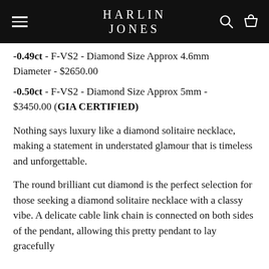HARLIN JONES
-0.49ct - F-VS2 - Diamond Size Approx 4.6mm Diameter - $2650.00
-0.50ct - F-VS2 - Diamond Size Approx 5mm - $3450.00 (GIA CERTIFIED)
Nothing says luxury like a diamond solitaire necklace, making a statement in understated glamour that is timeless and unforgettable.
The round brilliant cut diamond is the perfect selection for those seeking a diamond solitaire necklace with a classy vibe. A delicate cable link chain is connected on both sides of the pendant, allowing this pretty pendant to lay gracefully